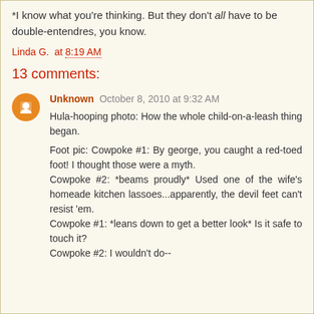*I know what you're thinking. But they don't all have to be double-entendres, you know.
Linda G. at 8:19 AM
13 comments:
Unknown October 8, 2010 at 9:32 AM
Hula-hooping photo: How the whole child-on-a-leash thing began.

Foot pic: Cowpoke #1: By george, you caught a red-toed foot! I thought those were a myth.
Cowpoke #2: *beams proudly* Used one of the wife's homeade kitchen lassoes...apparently, the devil feet can't resist 'em.
Cowpoke #1: *leans down to get a better look* Is it safe to touch it?
Cowpoke #2: I wouldn't do--